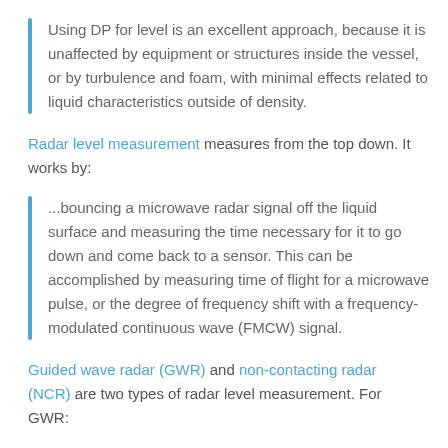Using DP for level is an excellent approach, because it is unaffected by equipment or structures inside the vessel, or by turbulence and foam, with minimal effects related to liquid characteristics outside of density.
Radar level measurement measures from the top down. It works by:
...bouncing a microwave radar signal off the liquid surface and measuring the time necessary for it to go down and come back to a sensor. This can be accomplished by measuring time of flight for a microwave pulse, or the degree of frequency shift with a frequency-modulated continuous wave (FMCW) signal.
Guided wave radar (GWR) and non-contacting radar (NCR) are two types of radar level measurement. For GWR: